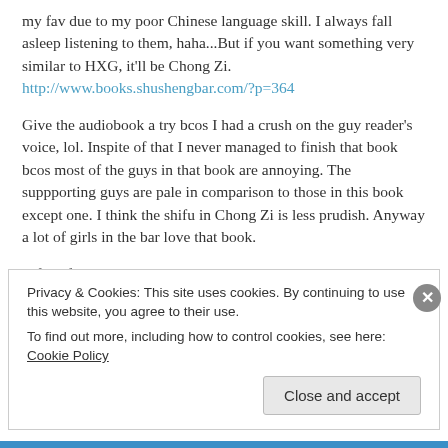my fav due to my poor Chinese language skill. I always fall asleep listening to them, haha...But if you want something very similar to HXG, it'll be Chong Zi.
http://www.books.shushengbar.com/?p=364
Give the audiobook a try bcos I had a crush on the guy reader's voice, lol. Inspite of that I never managed to finish that book bcos most of the guys in that book are annoying. The suppporting guys are pale in comparison to those in this book except one. I think the shifu in Chong Zi is less prudish. Anyway a lot of girls in the bar love that book.
A firm fav with many readers is Heavy Sweetness, Ash-like Frost. This one is just a fight between 2 guys with some humour as well as angst. Floating Dreams, The Promise of 3
Privacy & Cookies: This site uses cookies. By continuing to use this website, you agree to their use.
To find out more, including how to control cookies, see here: Cookie Policy
Close and accept